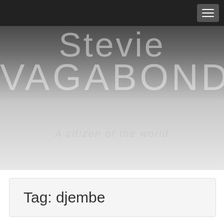Stevie Vagabond
Stevie
Vagabond
A citizen of the world
Tag: djembe